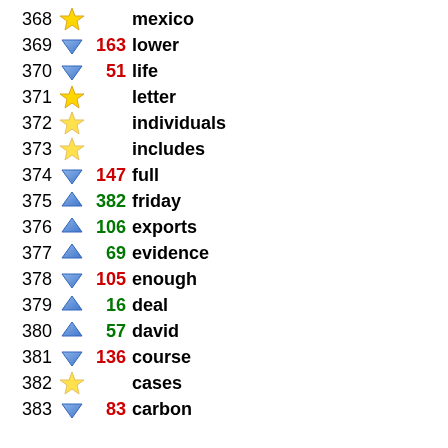368 ★ mexico
369 ▼ 163 lower
370 ▼ 51 life
371 ★ letter
372 ★ individuals
373 ★ includes
374 ▼ 147 full
375 ▲ 382 friday
376 ▲ 106 exports
377 ▲ 69 evidence
378 ▼ 105 enough
379 ▲ 16 deal
380 ▲ 57 david
381 ▼ 136 course
382 ★ cases
383 ▼ 83 carbon